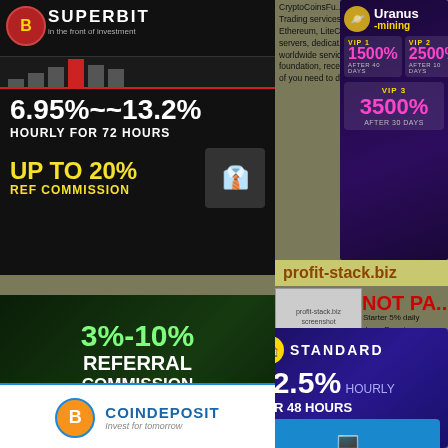[Figure (screenshot): Superbit investment ad: 6.95%~~13.2% hourly for 72 hours, up to 20% ref commission]
[Figure (screenshot): Uranus mining VIP tiers: VIP1 1500% after 40 days, VIP2 2500% after 10 days, VIP3 3500% after 30 days]
CryptoCoinsFu... Trading services... Ethereum, LiteC... servers, dedicat... worldwide servic... foundation, rece... of you need to d...
profit-stack.biz
[Figure (screenshot): profit-stack.biz screenshot with payment method icons]
NOT PA...
Starter 5% daily... days, Premium... 25 days
Min/Max: $20 / U...
Referral: 7%
Withdrawal: Inst...
PROFIT-STACK LTD is a reliable Compa... activity on the London Stock Exchange. O... the Forex market and selling appreciated s... managing in the foreign exchange currenc... the best world e... Today we are sa...
[Figure (screenshot): 3%-10% Referral Commission ad with crypto icons (Globak, Ethereum, Perfect Money)]
[Figure (logo): CoinDeposit - Invest for tomorrow logo]
12hours.b...
[Figure (screenshot): Standard 12.5% hourly for 48 hours investment ad]
[Figure (screenshot): 12hours.biz screenshot]